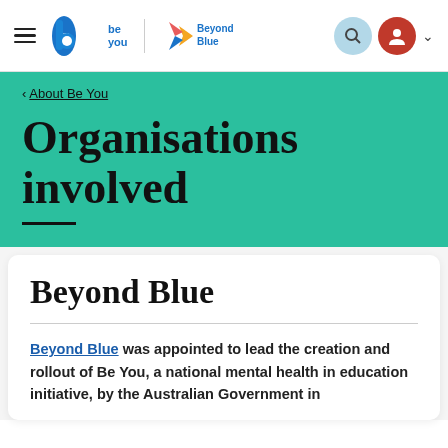Be You | Beyond Blue — navigation bar
< About Be You
Organisations involved
Beyond Blue
Beyond Blue was appointed to lead the creation and rollout of Be You, a national mental health in education initiative, by the Australian Government in